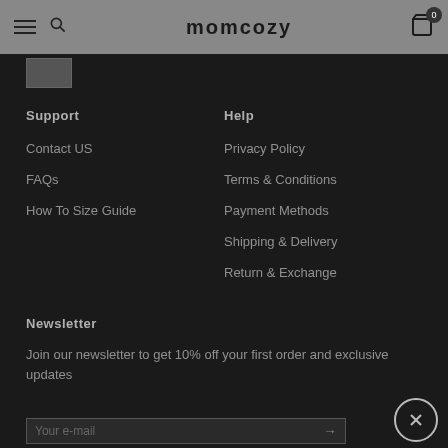momcozy
Support
Contact US
FAQs
How To Size Guide
Help
Privacy Policy
Terms & Conditions
Payment Methods
Shipping & Delivery
Return & Exchange
Newsletter
Join our newsletter to get 10% off your first order and exclusive updates